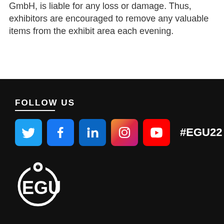GmbH, is liable for any loss or damage. Thus, exhibitors are encouraged to remove any valuable items from the exhibit area each evening.
[Figure (infographic): Social media icons row: Twitter, Facebook, LinkedIn, Instagram, YouTube, followed by #EGU22 text, on a dark background with FOLLOW US heading and EGU Jobs logo below]
FOLLOW US
#EGU22
[Figure (logo): EGU Jobs logo in white on dark background]